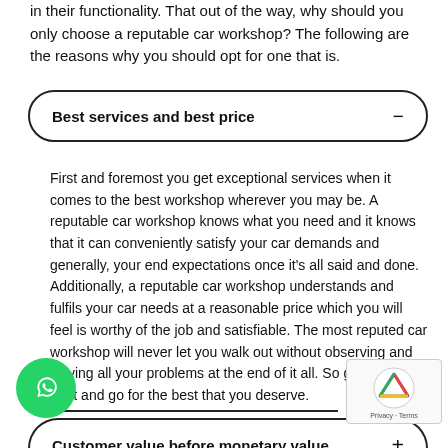in their functionality. That out of the way, why should you only choose a reputable car workshop? The following are the reasons why you should opt for one that is.
Best services and best price
First and foremost you get exceptional services when it comes to the best workshop wherever you may be. A reputable car workshop knows what you need and it knows that it can conveniently satisfy your car demands and generally, your end expectations once it's all said and done. Additionally, a reputable car workshop understands and fulfils your car needs at a reasonable price which you will feel is worthy of the job and satisfiable. The most reputed car workshop will never let you walk out without observing and solving all your problems at the end of it all. So get your facts right and go for the best that you deserve.
Customer value before monetary value